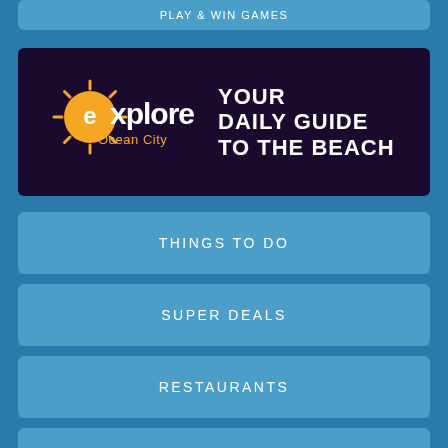PLAY & WIN GAMES
[Figure (logo): Explore Ocean City logo with sun and location pin icon, dark background, with tagline YOUR DAILY GUIDE TO THE BEACH]
THINGS TO DO
SUPER DEALS
RESTAURANTS
EVENTS